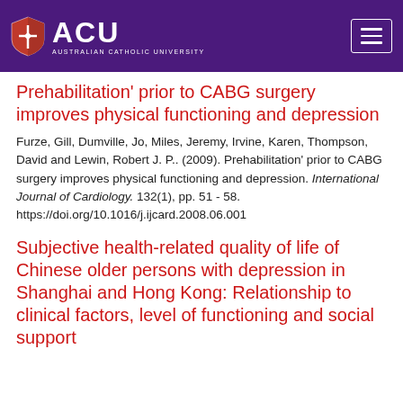[Figure (logo): ACU (Australian Catholic University) logo with shield icon on purple header bar with hamburger menu button]
Prehabilitation' prior to CABG surgery improves physical functioning and depression
Furze, Gill, Dumville, Jo, Miles, Jeremy, Irvine, Karen, Thompson, David and Lewin, Robert J. P.. (2009). Prehabilitation' prior to CABG surgery improves physical functioning and depression. International Journal of Cardiology. 132(1), pp. 51 - 58. https://doi.org/10.1016/j.ijcard.2008.06.001
Subjective health-related quality of life of Chinese older persons with depression in Shanghai and Hong Kong: Relationship to clinical factors, level of functioning and social support